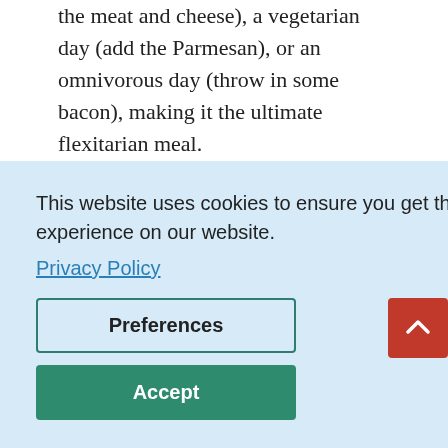the meat and cheese), a vegetarian day (add the Parmesan), or an omnivorous day (throw in some bacon), making it the ultimate flexitarian meal.
CRISPY GNOCCHI WITH ROASTED PEPPERS, CHILLI, ROSEMARY AND RICOTTA: We highly recommend getting your biggest roasting tin out for this delicious, family friendly recipe from Rukmini Iyer. Once you've tasted it, [...]ls!
[...OTATO AND ...] ver's unique [...] an stew. [...]-rich pulses [...] on and fibre.
[...RY: Who...]
This website uses cookies to ensure you get the best experience on our website. Privacy Policy
Preferences
Accept